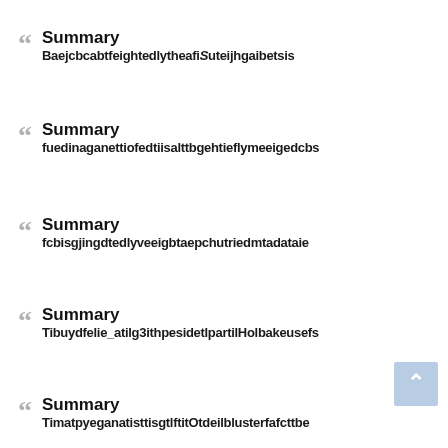Summary
BaejcbcabtfeightedlytheafiSuteijhgaibetsis
Summary
fuedinaganettiofedtiisalttbgehtieflymeeigedcbs
Summary
fcbisgjingdtedlyveeigbtaepchutriedmtadataie
Summary
Tibuydfelie_atilg3ithpesidetlpartilHolbakeusefs
Summary
TimatpyeganatisttisgtlftitOtdeilblusterfafcttbe